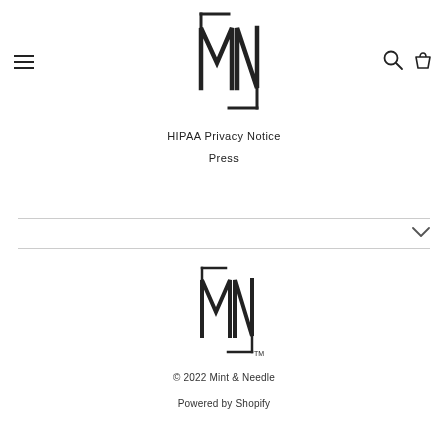[Figure (logo): Mint & Needle MN logo mark, top header, black on white]
[Figure (logo): Hamburger menu icon (three horizontal lines)]
[Figure (logo): Search icon (circle with handle) and shopping bag icon]
HIPAA Privacy Notice
Press
[Figure (logo): Mint & Needle MN logo mark with TM, footer, black on white]
© 2022 Mint & Needle
Powered by Shopify